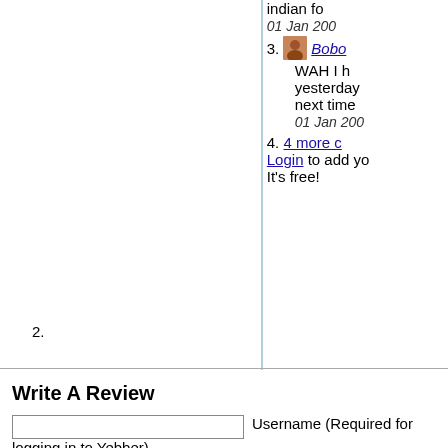indian fo... 01 Jan 200...
3. Bobo... WAH I h... yesterday... next time... 01 Jan 200...
4. 4 more c... Login to add yo... It's free!
2.
Write A Review
Username (Required for logging in to Yebber)
Email (Required for verification. We will never give out your email.)